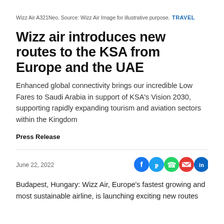Wizz Air A321Neo. Source: Wizz Air Image for illustrative purpose.
TRAVEL
Wizz air introduces new routes to the KSA from Europe and the UAE
Enhanced global connectivity brings our incredible Low Fares to Saudi Arabia in support of KSA's Vision 2030, supporting rapidly expanding tourism and aviation sectors within the Kingdom
Press Release
June 22, 2022
Budapest, Hungary: Wizz Air, Europe's fastest growing and most sustainable airline, is launching exciting new routes